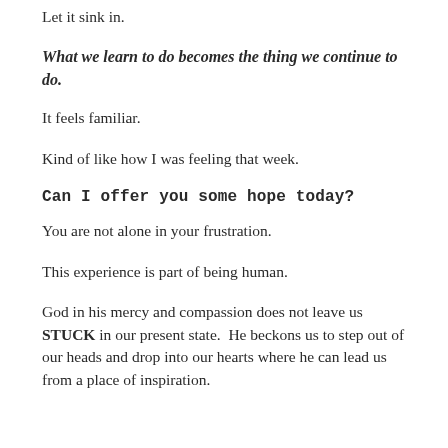Let it sink in.
What we learn to do becomes the thing we continue to do.
It feels familiar.
Kind of like how I was feeling that week.
Can I offer you some hope today?
You are not alone in your frustration.
This experience is part of being human.
God in his mercy and compassion does not leave us STUCK in our present state.  He beckons us to step out of our heads and drop into our hearts where he can lead us from a place of inspiration.